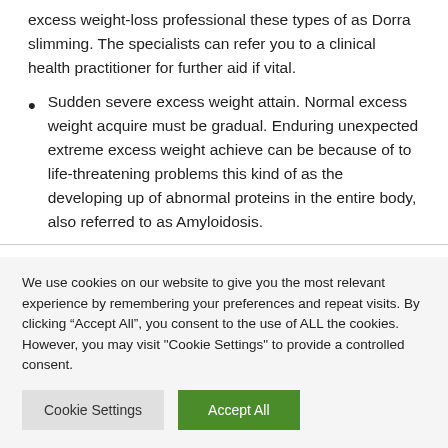excess weight-loss professional these types of as Dorra slimming. The specialists can refer you to a clinical health practitioner for further aid if vital.
Sudden severe excess weight attain. Normal excess weight acquire must be gradual. Enduring unexpected extreme excess weight achieve can be because of to life-threatening problems this kind of as the developing up of abnormal proteins in the entire body, also referred to as Amyloidosis.
We use cookies on our website to give you the most relevant experience by remembering your preferences and repeat visits. By clicking “Accept All”, you consent to the use of ALL the cookies. However, you may visit "Cookie Settings" to provide a controlled consent.